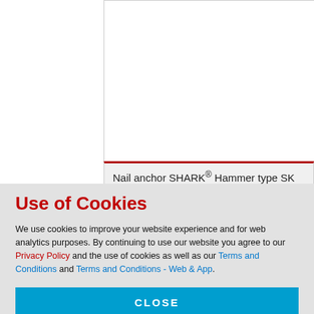[Figure (photo): White product image area for Nail anchor SHARK Hammer type SK, shown within a bordered box]
Nail anchor SHARK® Hammer type SK
Use of Cookies
We use cookies to improve your website experience and for web analytics purposes. By continuing to use our website you agree to our Privacy Policy and the use of cookies as well as our Terms and Conditions and Terms and Conditions - Web & App.
CLOSE